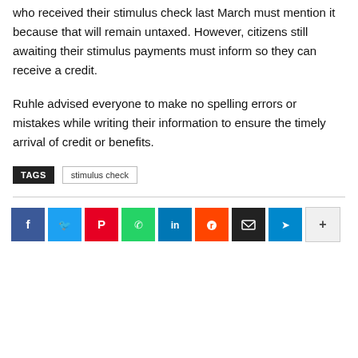who received their stimulus check last March must mention it because that will remain untaxed. However, citizens still awaiting their stimulus payments must inform so they can receive a credit.
Ruhle advised everyone to make no spelling errors or mistakes while writing their information to ensure the timely arrival of credit or benefits.
TAGS  stimulus check
[Figure (other): Social media share buttons row: Facebook (blue), Twitter (light blue), Pinterest (red), WhatsApp (green), LinkedIn (dark blue), Reddit (orange), Email (dark/black), Telegram (blue), More (+) button]